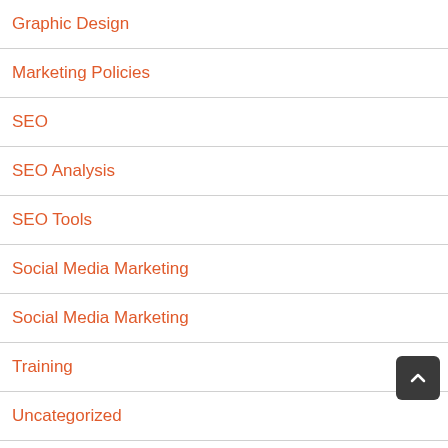Graphic Design
Marketing Policies
SEO
SEO Analysis
SEO Tools
Social Media Marketing
Social Media Marketing
Training
Uncategorized